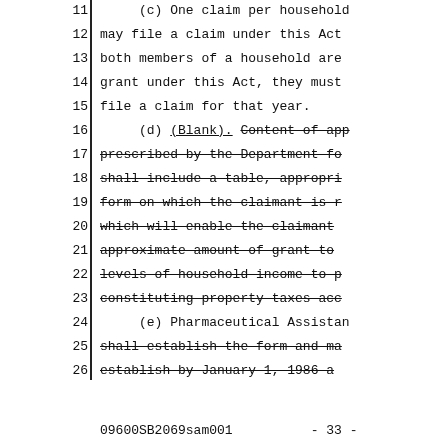11    (c) One claim per household
12    may file a claim under this Act
13    both members of a household are
14    grant under this Act, they must
15    file a claim for that year.
16    (d) (Blank). Content of app [strikethrough]
17    prescribed by the Department fo [strikethrough]
18    shall include a table, appropri [strikethrough]
19    form on which the claimant is r [strikethrough]
20    which will enable the claimant [strikethrough]
21    approximate amount of grant to [strikethrough]
22    levels of household income to p [strikethrough]
23    constituting property taxes acc [strikethrough]
24    (e) Pharmaceutical Assistan
25    shall establish the form and ma [strikethrough]
26    establish by January 1, 1986 a [strikethrough]
09600SB2069sam001          - 33 -